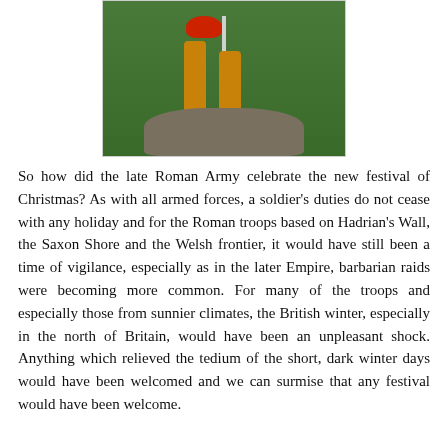[Figure (photo): Cropped photo of a painted Roman soldier figurine/statue standing on a rocky base, holding a pole/staff, wearing sandals and orange/tan clothing with a red element at top. Background is dark green.]
So how did the late Roman Army celebrate the new festival of Christmas? As with all armed forces, a soldier's duties do not cease with any holiday and for the Roman troops based on Hadrian's Wall, the Saxon Shore and the Welsh frontier, it would have still been a time of vigilance, especially as in the later Empire, barbarian raids were becoming more common. For many of the troops and especially those from sunnier climates, the British winter, especially in the north of Britain, would have been an unpleasant shock. Anything which relieved the tedium of the short, dark winter days would have been welcomed and we can surmise that any festival would have been welcome.